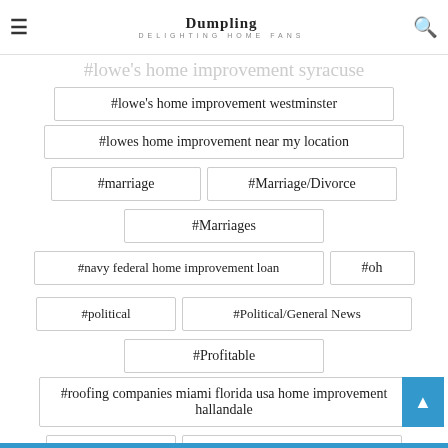Dumpling — DELIGHTING HOME FANS
#lowe's home improvement syracuse (partial/faded)
#lowe's home improvement westminster
#lowes home improvement near my location
#marriage
#Marriage/Divorce
#Marriages
#navy federal home improvement loan
#oh
#political
#Political/General News
#Profitable
#roofing companies miami florida usa home improvement hallandale
#society
#Society/Community